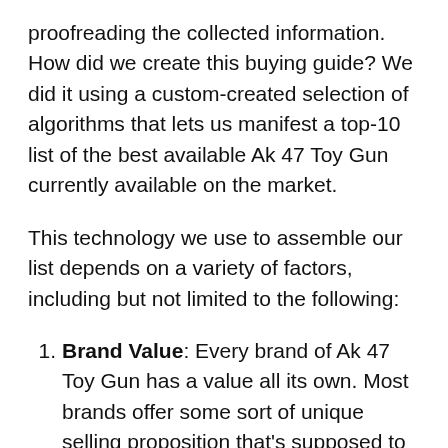proofreading the collected information. How did we create this buying guide? We did it using a custom-created selection of algorithms that lets us manifest a top-10 list of the best available Ak 47 Toy Gun currently available on the market.
This technology we use to assemble our list depends on a variety of factors, including but not limited to the following:
Brand Value: Every brand of Ak 47 Toy Gun has a value all its own. Most brands offer some sort of unique selling proposition that's supposed to bring something different to the table than their competitors.